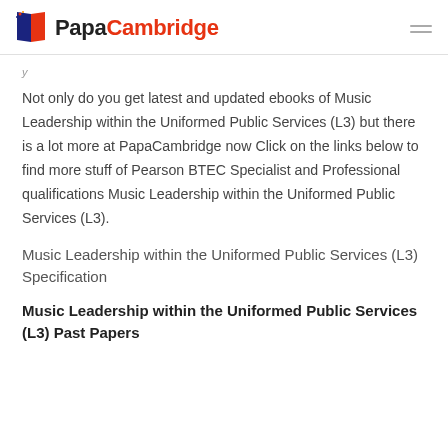PapaCambridge
Not only do you get latest and updated ebooks of Music Leadership within the Uniformed Public Services (L3) but there is a lot more at PapaCambridge now Click on the links below to find more stuff of Pearson BTEC Specialist and Professional qualifications Music Leadership within the Uniformed Public Services (L3).
Music Leadership within the Uniformed Public Services (L3) Specification
Music Leadership within the Uniformed Public Services (L3) Past Papers